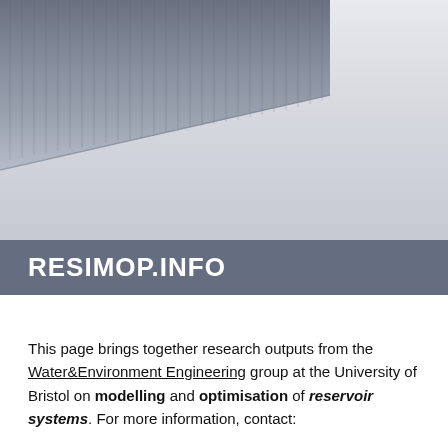[Figure (photo): Photograph of a dam or reservoir structure with a long angled top edge, grey metallic tones, set against a light grey foggy background]
RESIMOP.INFO
This page brings together research outputs from the Water&Environment Engineering group at the University of Bristol on modelling and optimisation of reservoir systems. For more information, contact: